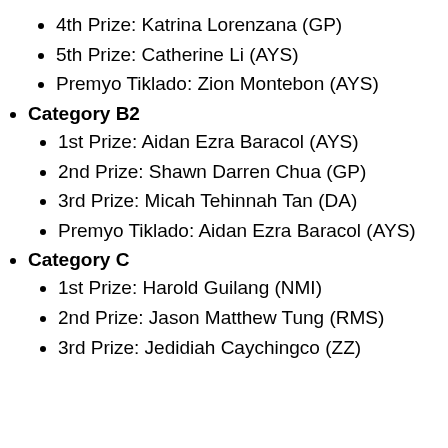4th Prize: Katrina Lorenzana (GP)
5th Prize: Catherine Li (AYS)
Premyo Tiklado: Zion Montebon (AYS)
Category B2
1st Prize: Aidan Ezra Baracol (AYS)
2nd Prize: Shawn Darren Chua (GP)
3rd Prize: Micah Tehinnah Tan (DA)
Premyo Tiklado: Aidan Ezra Baracol (AYS)
Category C
1st Prize: Harold Guilang (NMI)
2nd Prize: Jason Matthew Tung (RMS)
3rd Prize: Jedidiah Caychingco (ZZ)